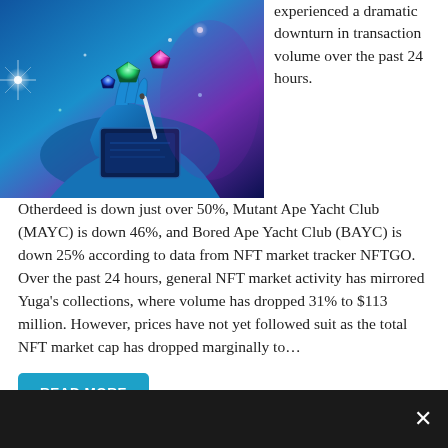[Figure (illustration): Illustration of a blue gloved hand using a stylus on a digital tablet with colorful gems/crystals floating above it, purple and blue tones, sci-fi/crypto themed artwork]
experienced a dramatic downturn in transaction volume over the past 24 hours.  Otherdeed is down just over 50%, Mutant Ape Yacht Club (MAYC) is down 46%, and Bored Ape Yacht Club (BAYC) is down 25% according to data from NFT market tracker NFTGO. Over the past 24 hours, general NFT market activity has mirrored Yuga's collections, where volume has dropped 31% to $113 million. However, prices have not yet followed suit as the total NFT market cap has dropped marginally to…
READ MORE
Uncategorized   Dives, Markets, NFT, Sales, Slump, Volume, Weekly